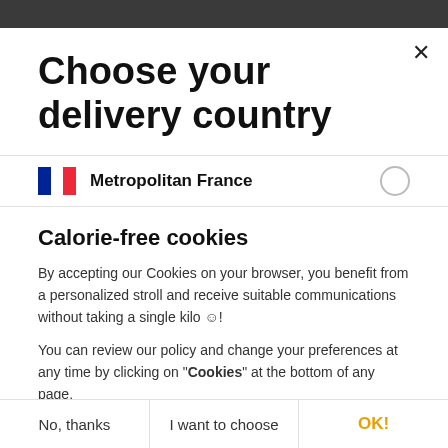Choose your delivery country
Metropolitan France
Calorie-free cookies
By accepting our Cookies on your browser, you benefit from a personalized stroll and receive suitable communications without taking a single kilo ☺!
You can review our policy and change your preferences at any time by clicking on "Cookies" at the bottom of any page.
Consents certified by axeptio
No, thanks
I want to choose
OK!